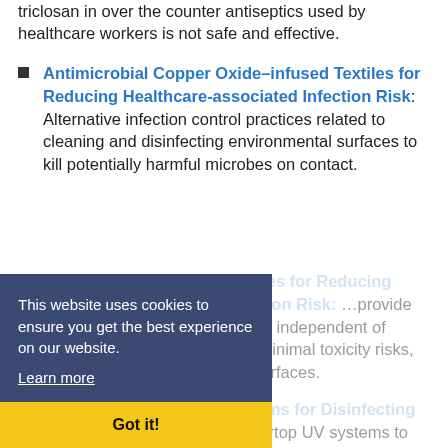triclosan in over the counter antiseptics used by healthcare workers is not safe and effective.
Antimicrobial Copper Oxide–infused Textiles for Reducing Healthcare-associated Infection Risk: Alternative infection control practices related to cleaning and disinfecting environmental surfaces to kill potentially harmful microbes on contact.
Antimicrobial Copper Surfaces for Reducing Healthcare-associated Infection Risk: ...provide substantial antimicrobial effects independent of disinfectant activity and pose minimal toxicity risks, but cost more than standard surfaces.
Countertop Ultraviolet Systems for Disinfecting Mobile Devices: Using countertop UV systems to disinfect mobile devices used in healthcare
This website uses cookies to ensure you get the best experience on our website.
Learn more
Got it!